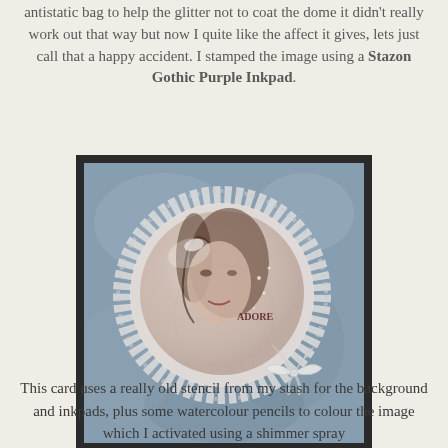antistatic bag to help the glitter not to coat the dome it didn't really work out that way but now I quite like the affect it gives, lets just call that a happy accident. I stamped the image using a Stazon Gothic Purple Inkpad.
[Figure (photo): A decorative craft card featuring a glass dome ornament with a stamped female face image, surrounded by a white lace doily border and a white ribbon bow at the bottom right. The background is a mottled blue-grey color created with a stencil.]
This card uses a really old stencil from my stash for the background and inkpads, plus some watercolour pencils to colour the image which I activated using a shimmer spray